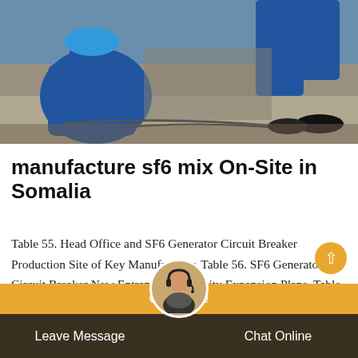[Figure (photo): Workers in blue uniforms and hard hats working on a construction or industrial site, crouching on a floor with tools and cables.]
manufacture sf6 mix On-Site in Somalia
Table 55. Head Office and SF6 Generator Circuit Breaker Production Site of Key Manufacturer. Table 56. SF6 Generator Circuit Breaker New Entrant and Capacity Expansion Plans. Table 57. SF6 Generator Circuit Breaker Mergers Acquisitions in the Past Five Years. Table 58. Global SF6 Generator Circuit Breaker Sales by Region (2016-2021e) (Units
Leave Message   Chat Online